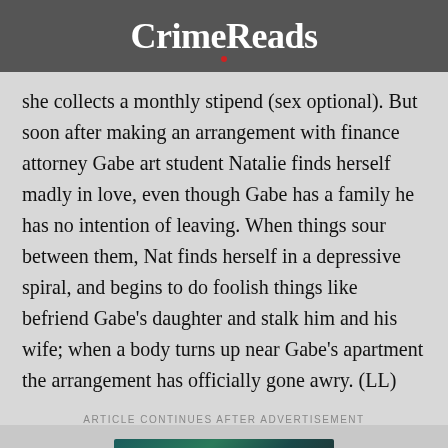CrimeReads
she collects a monthly stipend (sex optional). But soon after making an arrangement with finance attorney Gabe art student Natalie finds herself madly in love, even though Gabe has a family he has no intention of leaving. When things sour between them, Nat finds herself in a depressive spiral, and begins to do foolish things like befriend Gabe’s daughter and stalk him and his wife; when a body turns up near Gabe’s apartment the arrangement has officially gone awry. (LL)
ARTICLE CONTINUES AFTER ADVERTISEMENT
[Figure (photo): Partial bottom image, dark teal/green tones, partially visible at bottom of page]